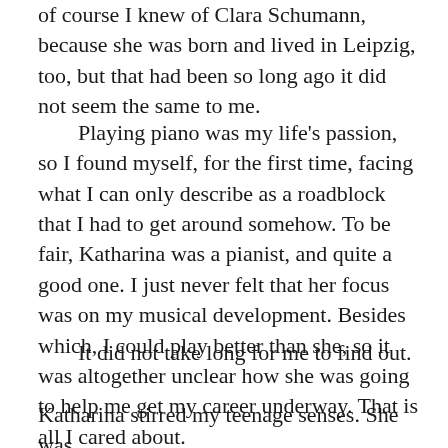of course I knew of Clara Schumann, because she was born and lived in Leipzig, too, but that had been so long ago it did not seem the same to me.
Playing piano was my life's passion, so I found myself, for the first time, facing what I can only describe as a roadblock that I had to get around somehow. To be fair, Katharina was a pianist, and quite a good one. I just never felt that her focus was on my musical development. Besides which, I could play better than she, so it was altogether unclear how she was going to help me get my career underway. That is all I cared about.
It did not take long for me to find out.
Katharina stirred my teenage senses. She was attentive in a way that told it was about her...